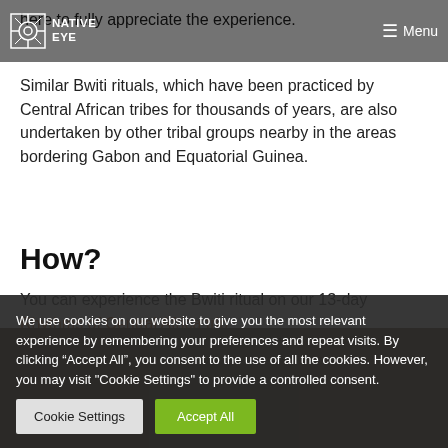Native Eye — Menu
here to fully appreciate the experience.
Similar Bwiti rituals, which have been practiced by Central African tribes for thousands of years, are also undertaken by other tribal groups nearby in the areas bordering Gabon and Equatorial Guinea.
How?
You can experience the Bwiti ritual on our 13-day Rhythms of Central Africa trip
[Figure (photo): Dark photo strip showing tribal figures/people in the lower portion of the page]
We use cookies on our website to give you the most relevant experience by remembering your preferences and repeat visits. By clicking “Accept All”, you consent to the use of all the cookies. However, you may visit "Cookie Settings" to provide a controlled consent.